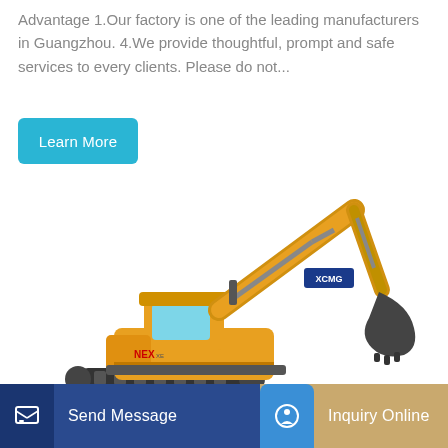Advantage 1.Our factory is one of the leading manufacturers in Guangzhou. 4.We provide thoughtful, prompt and safe services to every clients. Please do not...
Learn More
[Figure (photo): Yellow XCMG brand crawler excavator with extended boom and bucket arm, facing right side view on white background. Model appears to be XE490H or similar large crawler excavator.]
Send Message
Inquiry Online
Attractive and Quirky keychain with chain at